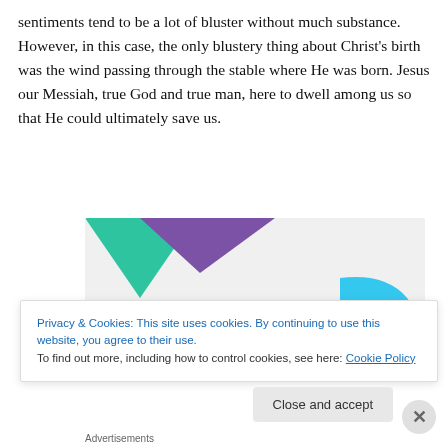sentiments tend to be a lot of bluster without much substance. However, in this case, the only blustery thing about Christ's birth was the wind passing through the stable where He was born. Jesus our Messiah, true God and true man, here to dwell among us so that He could ultimately save us.
[Figure (infographic): Advertisement banner with geometric shapes (teal triangle, purple triangle, cyan quarter-circle) on a light gray background with bold text 'How to start selling subscriptions online']
Privacy & Cookies: This site uses cookies. By continuing to use this website, you agree to their use.
To find out more, including how to control cookies, see here: Cookie Policy
Close and accept
Advertisements